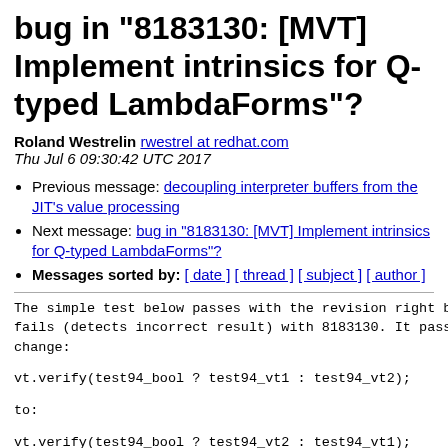bug in "8183130: [MVT] Implement intrinsics for Q-typed LambdaForms"?
Roland Westrelin rwestrel at redhat.com
Thu Jul 6 09:30:42 UTC 2017
Previous message: decoupling interpreter buffers from the JIT's value processing
Next message: bug in "8183130: [MVT] Implement intrinsics for Q-typed LambdaForms"?
Messages sorted by: [ date ] [ thread ] [ subject ] [ author ]
The simple test below passes with the revision right before
fails (detects incorrect result) with 8183130. It passes
change:
vt.verify(test94_bool ? test94_vt1 : test94_vt2);
to:
vt.verify(test94_bool ? test94_vt2 : test94_vt1);